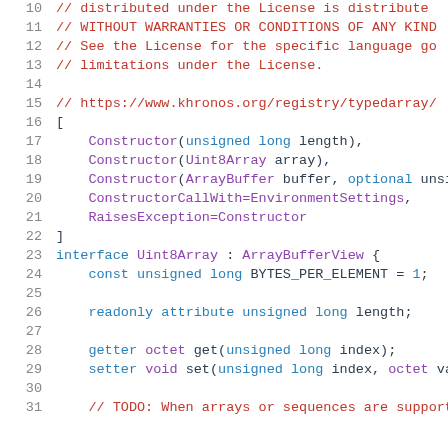10  // distributed under the License is distributed
11  // WITHOUT WARRANTIES OR CONDITIONS OF ANY KIND
12  // See the License for the specific language go
13  // limitations under the License.
14
15  // https://www.khronos.org/registry/typedarray/s
16  [
17      Constructor(unsigned long length),
18      Constructor(Uint8Array array),
19      Constructor(ArrayBuffer buffer, optional unsi
20      ConstructorCallWith=EnvironmentSettings,
21      RaisesException=Constructor
22  ]
23  interface Uint8Array : ArrayBufferView {
24      const unsigned long BYTES_PER_ELEMENT = 1;
25
26      readonly attribute unsigned long length;
27
28      getter octet get(unsigned long index);
29      setter void set(unsigned long index, octet va
30
31      // TODO: When arrays or sequences are support